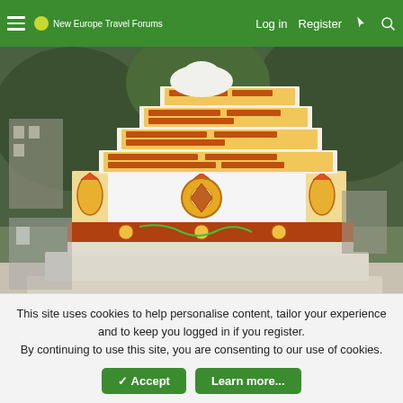New Europe Travel Forums — Log in  Register
[Figure (photo): A decorative white Buddhist stupa/chorten with colorful Tibetan script prayer stones stacked in tiers on top, and ornate painted designs on the white base panels. Background shows mountainside buildings and green forested hills.]
This site uses cookies to help personalise content, tailor your experience and to keep you logged in if you register.
By continuing to use this site, you are consenting to our use of cookies.
✓ Accept   Learn more...